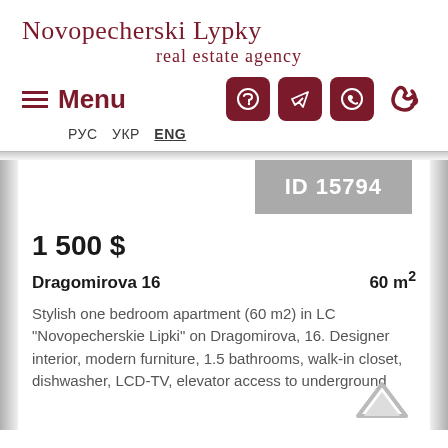Novopecherski Lypky real estate agency
Menu
РУС УКР ENG
ID 15794
1 500 $
Dragomirova 16   60 m²
Stylish one bedroom apartment (60 m2) in LC "Novopecherskie Lipki" on Dragomirova, 16. Designer interior, modern furniture, 1.5 bathrooms, walk-in closet, dishwasher, LCD-TV, elevator access to underground